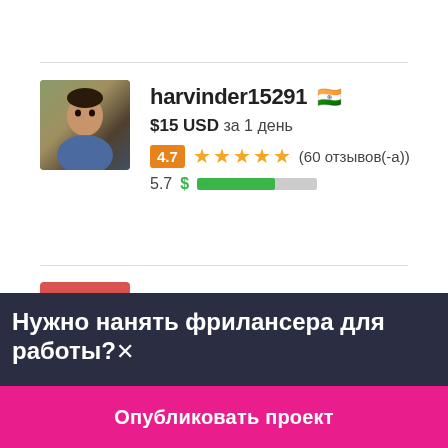[Figure (photo): Profile photo of harvinder15291 - person wearing blue shirt]
harvinder15291 🇮🇳
$15 USD за 1 день
4.7 ★★★★★ (60 отзывов(-а))
5.7 $ ▓▓▓▓▓░░░░░
[Figure (photo): Second profile avatar - red rectangle placeholder for fardaankamal79]
fardaankamal79 🇵🇰
Нужно нанять фрилансера для работы?✕
Опубликовать проект